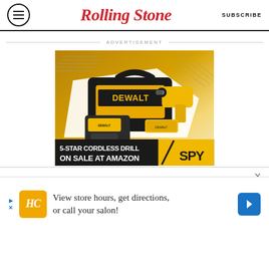Rolling Stone | SUBSCRIBE
ADVERTISEMENT
[Figure (illustration): DeWalt cordless drill advertisement showing a black tool bag with yellow DeWalt branding, a cordless drill, battery pack, and charger. Text reads '5-STAR CORDLESS DRILL ON SALE AT AMAZON' with SPY logo.]
[Figure (illustration): Bottom banner ad: HC logo (yellow square), text 'View store hours, get directions, or call your salon!' with blue navigation arrow icon on right.]